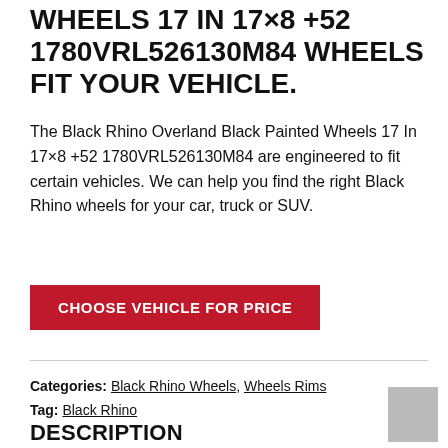WHEELS 17 IN 17×8 +52 1780VRL526130M84 WHEELS FIT YOUR VEHICLE.
The Black Rhino Overland Black Painted Wheels 17 In 17×8 +52 1780VRL526130M84 are engineered to fit certain vehicles. We can help you find the right Black Rhino wheels for your car, truck or SUV.
CHOOSE VEHICLE FOR PRICE
Categories: Black Rhino Wheels, Wheels Rims
Tag: Black Rhino
DESCRIPTION